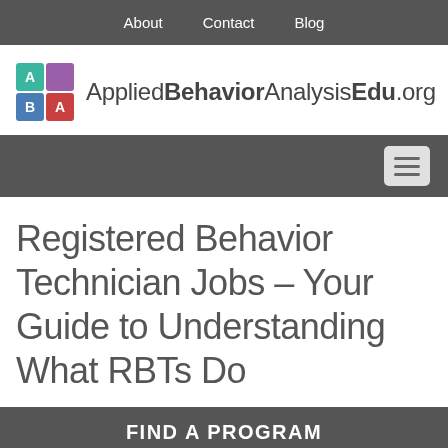About  Contact  Blog
[Figure (logo): AppliedBehaviorAnalysisEdu.org logo with ABA letter blocks in teal, purple, blue, and red]
[Figure (other): Mobile navigation hamburger menu button on dark gray background]
Registered Behavior Technician Jobs – Your Guide to Understanding What RBTs Do
FIND A PROGRAM